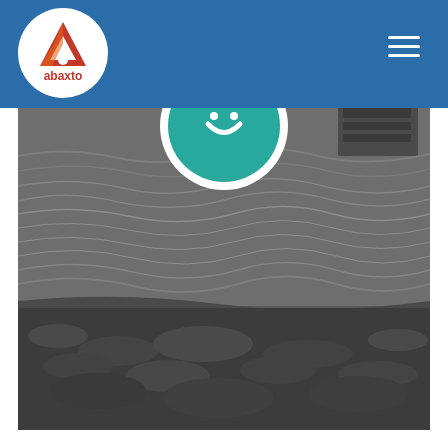[Figure (logo): Abaxto logo: white circle with red A-shaped roof icon and text 'abaxto' in red below, set on a blue header bar]
[Figure (photo): Black and white photograph of rippling water/coastline with a boat partially visible at top right. A teal and white circular logo element overlaps the top of the photo. The bottom of the image shows a rocky shoreline.]